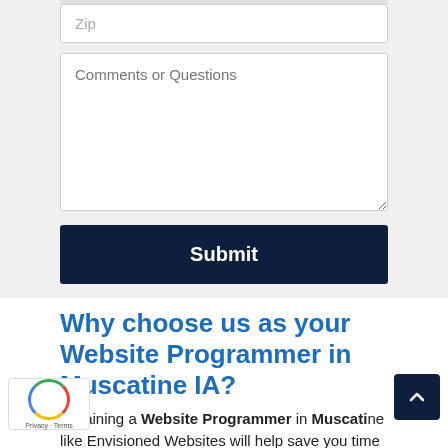[Figure (screenshot): A web form input field with placeholder text 'Zip' on a light gray background]
[Figure (screenshot): A large textarea form field with placeholder text 'Comments or Questions' on a light gray background]
[Figure (screenshot): A dark navy blue Submit button]
Why choose us as your Website Programmer in Muscatine IA?
Obtaining a Website Programmer in Muscatine like Envisioned Websites will help save you time and